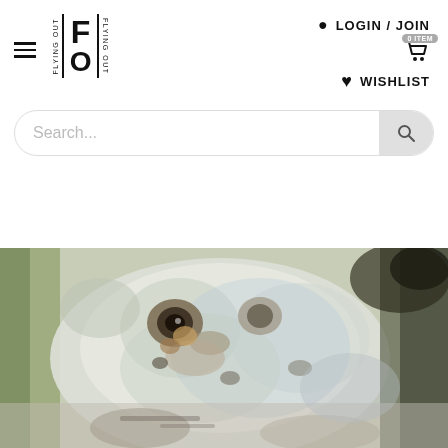[Figure (logo): Flying Out logo with F and O letters surrounded by 'FLYING OUT' text on both sides with vertical lines, hamburger menu icon on the left]
LOGIN / JOIN
0 ITEM
WISHLIST
Search...
[Figure (photo): Close-up painterly photo of an owl camouflaged among foliage and textures, predominantly white, grey and green tones]